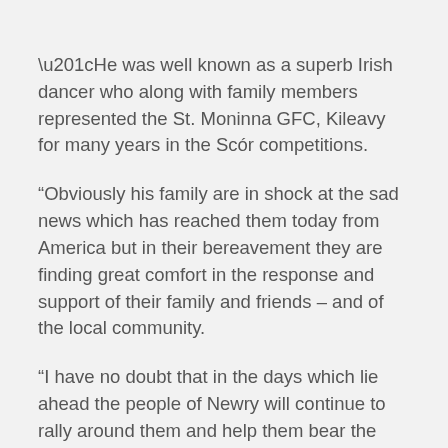“He was well known as a superb Irish dancer who along with family members represented the St. Moninna GFC, Kileavy for many years in the Scór competitions.
“Obviously his family are in shock at the sad news which has reached them today from America but in their bereavement they are finding great comfort in the response and support of their family and friends – and of the local community.
“I have no doubt that in the days which lie ahead the people of Newry will continue to rally around them and help them bear the great sadness of Kevin’s passing.